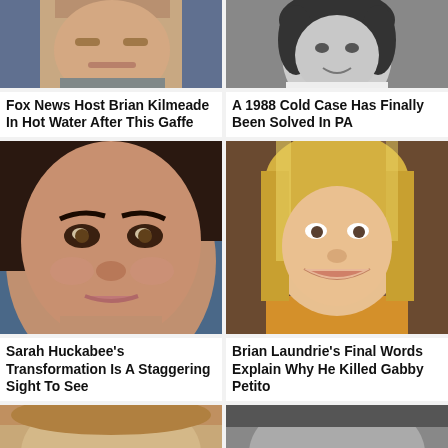[Figure (photo): Close-up photo of a middle-aged white man (Fox News host Brian Kilmeade) in a suit, serious expression, color photo]
Fox News Host Brian Kilmeade In Hot Water After This Gaffe
[Figure (photo): Black and white photo of a young woman with curly dark hair smiling]
A 1988 Cold Case Has Finally Been Solved In PA
[Figure (photo): Close-up photo of Sarah Huckabee Sanders with dark hair, heavy makeup, serious expression, color photo]
Sarah Huckabee's Transformation Is A Staggering Sight To See
[Figure (photo): Photo of a young blonde woman (Gabby Petito) smiling, wearing a yellow/orange top, color photo]
Brian Laundrie's Final Words Explain Why He Killed Gabby Petito
[Figure (photo): Partial photo of a woman, partially cropped at bottom of page]
[Figure (photo): Partial photo of a person, partially cropped at bottom of page]